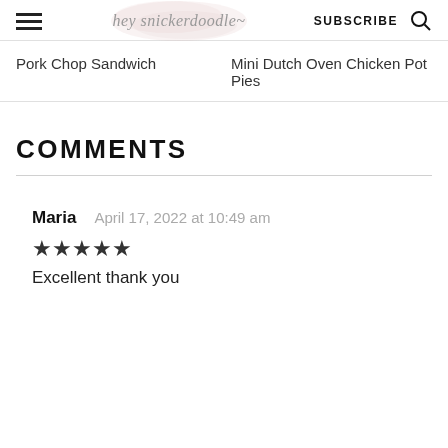hey snickerdoodle — SUBSCRIBE
Pork Chop Sandwich
Mini Dutch Oven Chicken Pot Pies
COMMENTS
Maria   April 17, 2022 at 10:49 am
★★★★★
Excellent thank you